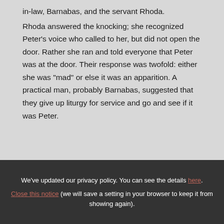in-law, Barnabas, and the servant Rhoda.
Rhoda answered the knocking; she recognized Peter's voice who called to her, but did not open the door. Rather she ran and told everyone that Peter was at the door. Their response was twofold: either she was "mad" or else it was an apparition. A practical man, probably Barnabas, suggested that they give up liturgy for service and go and see if it was Peter.
We've updated our privacy policy. You can see the details here.
Close this notice (we will save a setting in your browser to keep it from showing again).